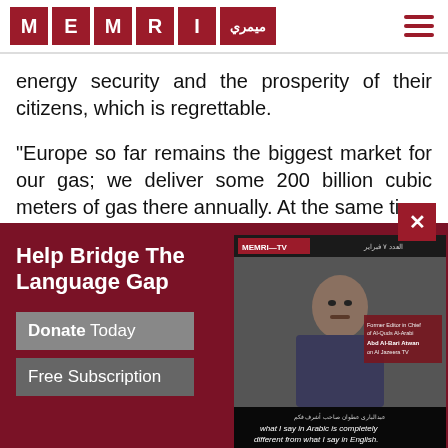MEMRI (logo) | menu icon
energy security and the prosperity of their citizens, which is regrettable.
“Europe so far remains the biggest market for our gas; we deliver some 200 billion cubic meters of gas there annually. At the same ti...
[Figure (screenshot): MEMRI-TV video thumbnail showing a man in a suit speaking, with subtitle text: 'what I say in Arabic is completely different from what I say in English.' Caption overlay: 'Former Editor in Chief of Al-Quds Al-Arabi Abd Al-Bari Atwan on Al Jazeera TV']
Help Bridge The Language Gap
Donate Today
Free Subscription